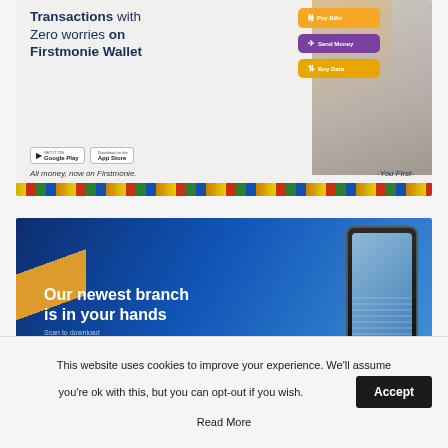[Figure (illustration): Firstmonie Wallet advertisement showing a woman using a smartphone with feature buttons (Pay Bills, Send Money, Add Data) and app store download badges. Text: 'Transactions with Zero worries on Firstmonie Wallet'. Tagline: 'All money, now on Firstmonie.' '-You First-']
[Figure (illustration): Bank mobile app advertisement with blue gradient background and orange diagonal stripe. Text: 'Our newest branch is in your hands'. Sub-text: 'Scan to download'. Shows a smartphone device.]
This website uses cookies to improve your experience. We'll assume you're ok with this, but you can opt-out if you wish.
Accept
Read More